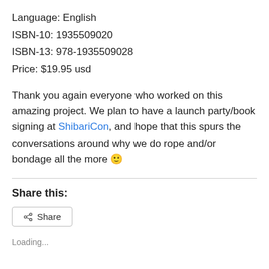Language: English
ISBN-10: 1935509020
ISBN-13: 978-1935509028
Price: $19.95 usd
Thank you again everyone who worked on this amazing project. We plan to have a launch party/book signing at ShibariCon, and hope that this spurs the conversations around why we do rope and/or bondage all the more 🙂
Share this:
Share
Loading...